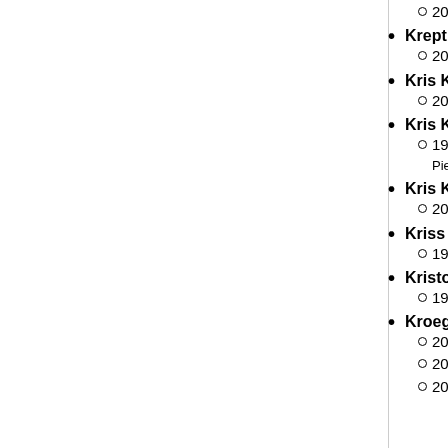2016: Taped up heart (Clara Fredrik- - Nirob Islam - Sara Fanny Christina Hje...
Krept and Konan
2016: Poison (Kate Nash - Nolan La... and Konan)
Kris Kiss
2016: Wow! (Daddy's Groove & M...
Kris Kross
1992: Jump (Jermaine Dupri - Berry G... - Leroy Bonner - Marshall Jones - Ralph... Andrew Noland - Marvin Pierce - Grego...
Kris Kross Amsterdam
2016: Sex (Hurby Azor - BEARCLWW... Huisman - Cimo Frankel - Rik Annema - ... Kross Amsterdam)
Kriss and Saratoga
1975: Piccola bambina cara (Scia...
Kristofferson, Kris
1970: Me and Bobby McGee (Fre...
Kroeger, Chad
2002: Hero (Chad Kroeger) - [#13] (...
2007: Into the night - [#9] (Santar...
2013: Let me go - [#378] (Avril La...